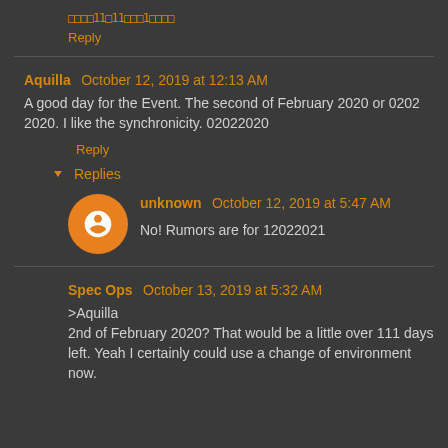□□□□11□11□□□1□□□□
Reply
Aquilla  October 12, 2019 at 12:13 AM
A good day for the Event. The second of February 2020 or 0202 2020. I like the synchronicity. 02022020
Reply
Replies
unknown  October 12, 2019 at 5:47 AM
No! Rumors are for 12022021
Spec Ops  October 13, 2019 at 5:32 AM
>Aquilla
2nd of February 2020? That would be a little over 111 days left. Yeah I certainly could use a change of environment now.